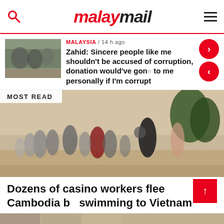malaymail
MALAYSIA / 14 h ago
Zahid: Sincere people like me shouldn't be accused of corruption, donation would've gone to me personally if I'm corrupt
[Figure (photo): Small thumbnail photo of people in a group, outdoor scene]
MOST READ
[Figure (photo): Large image of dozens of people running/fleeing outdoors, some wearing masks]
Dozens of casino workers flee Cambodia by swimming to Vietnam
[Figure (photo): Bottom strip thumbnail image]